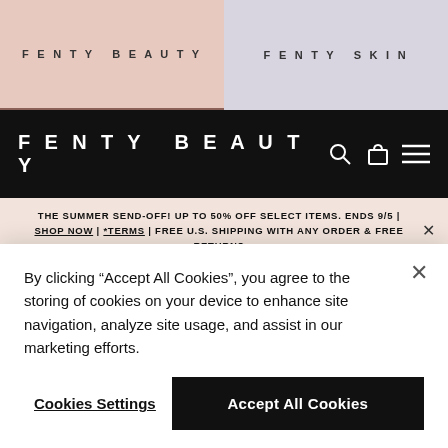FENTY BEAUTY | FENTY SKIN
FENTY BEAUTY
THE SUMMER SEND-OFF! UP TO 50% OFF SELECT ITEMS. ENDS 9/5 | SHOP NOW | *TERMS | FREE U.S. SHIPPING WITH ANY ORDER & FREE RETURNS
[Figure (photo): Three product images: white foundation bottle on light grey background, foundation swatch in beige/tan tone, and two white product boxes on dark red/brown background with play button icon]
By clicking "Accept All Cookies", you agree to the storing of cookies on your device to enhance site navigation, analyze site usage, and assist in our marketing efforts.
Cookies Settings | Accept All Cookies